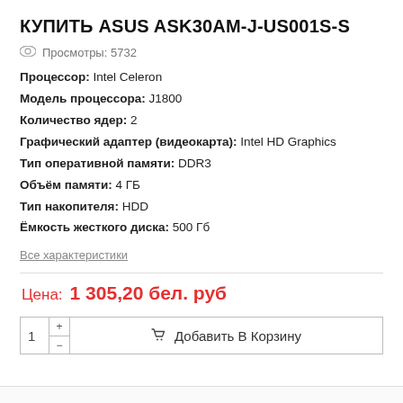КУПИТЬ ASUS ASK30AM-J-US001S-S
Просмотры: 5732
Процессор: Intel Celeron
Модель процессора: J1800
Количество ядер: 2
Графический адаптер (видеокарта): Intel HD Graphics
Тип оперативной памяти: DDR3
Объём памяти: 4 ГБ
Тип накопителя: HDD
Ёмкость жесткого диска: 500 Гб
Все характеристики
Цена: 1 305,20 бел. руб
1  Добавить В Корзину